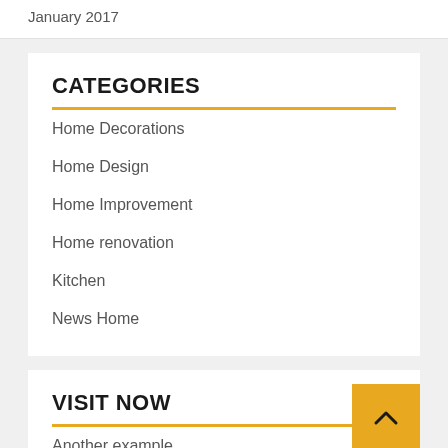January 2017
CATEGORIES
Home Decorations
Home Design
Home Improvement
Home renovation
Kitchen
News Home
VISIT NOW
Another example